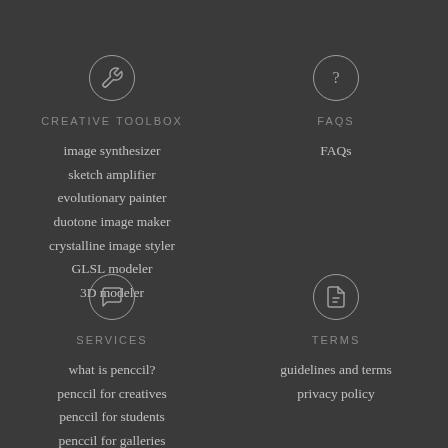[Figure (illustration): Wrench/tool icon in a circle]
[Figure (illustration): Question mark icon in a circle]
CREATIVE TOOLBOX
FAQS
image synthesizer
sketch amplifier
evolutionary painter
duotone image maker
crystalline image styler
GLSL modeler
3D modeler
FAQs
[Figure (illustration): Chat bubble icon in a circle]
[Figure (illustration): Document/page icon in a circle]
SERVICES
TERMS
what is penccil?
penccil for creatives
penccil for students
penccil for galleries
guidelines and terms
privacy policy